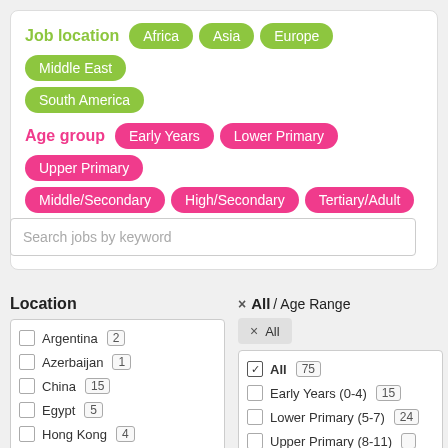Job location  Africa  Asia  Europe  Middle East  South America
Age group  Early Years  Lower Primary  Upper Primary  Middle/Secondary  High/Secondary  Tertiary/Adult
Entry level  NQTs  Experience(2yrs+)
Search jobs by keyword
Location
|  | Country | Count |
| --- | --- | --- |
| ☐ | Argentina | 2 |
| ☐ | Azerbaijan | 1 |
| ☐ | China | 15 |
| ☐ | Egypt | 5 |
| ☐ | Hong Kong | 4 |
× All  / Age Range
× All
|  | Age Group | Count |
| --- | --- | --- |
| ✓ | All | 75 |
| ☐ | Early Years (0-4) | 15 |
| ☐ | Lower Primary (5-7) | 24 |
| ☐ | Upper Primary (8-11) |  |